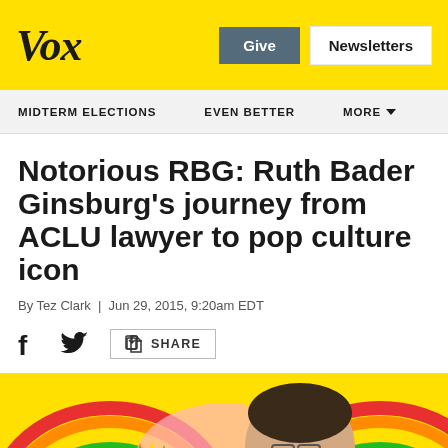Vox | Give | Newsletters
MIDTERM ELECTIONS | EVEN BETTER | MORE
Notorious RBG: Ruth Bader Ginsburg's journey from ACLU lawyer to pop culture icon
By Tez Clark | Jun 29, 2015, 9:20am EDT
[Figure (other): Social sharing icons: Facebook, Twitter, Share button]
[Figure (illustration): Colorful illustration of Ruth Bader Ginsburg with rainbow and unicorn motifs on yellow background]